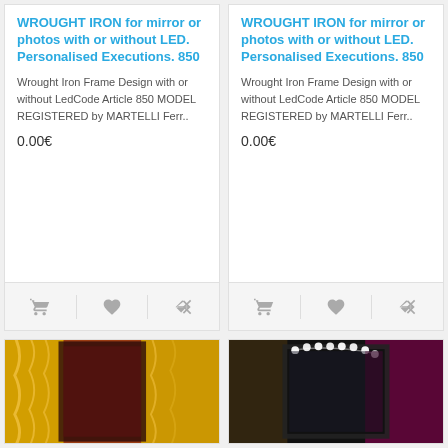WROUGHT IRON for mirror or photos with or without LED. Personalised Executions. 850
Wrought Iron Frame Design with or without LedCode Article 850 MODEL REGISTERED by MARTELLI Ferr..
0.00€
WROUGHT IRON for mirror or photos with or without LED. Personalised Executions. 850
Wrought Iron Frame Design with or without LedCode Article 850 MODEL REGISTERED by MARTELLI Ferr..
0.00€
[Figure (photo): Gold/metallic fabric draped over a mirror frame, warm tones, red background]
[Figure (photo): Mirror frame with LED lights, dark background with pink/magenta accents]